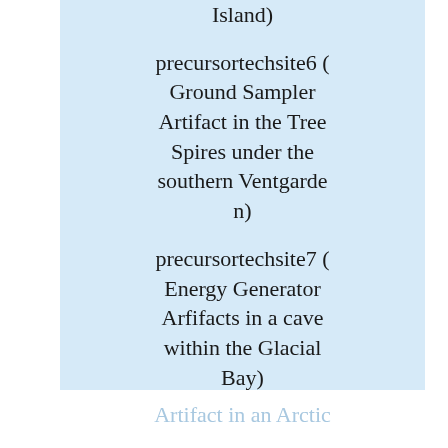Island)
precursortechsite6 ( Ground Sampler Artifact in the Tree Spires under the southern Ventgarden)
precursortechsite7 ( Energy Generator Arfifacts in a cave within the Glacial Bay)
precursortechsite8 ( Monument Artifact in an Arctic